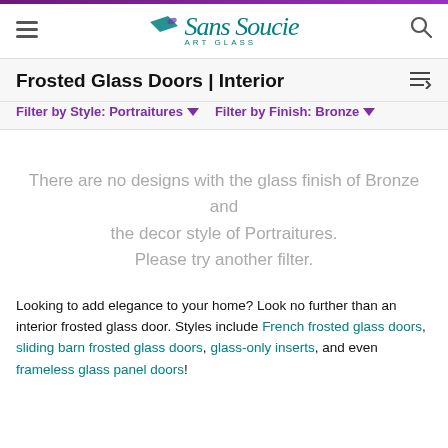Sans Soucie ART GLASS
Frosted Glass Doors | Interior
Filter by Style: Portraitures ▼   Filter by Finish: Bronze ▼
There are no designs with the glass finish of Bronze and the decor style of Portraitures. Please try another filter.
Looking to add elegance to your home? Look no further than an interior frosted glass door. Styles include French frosted glass doors, sliding barn frosted glass doors, glass-only inserts, and even frameless glass panel doors!